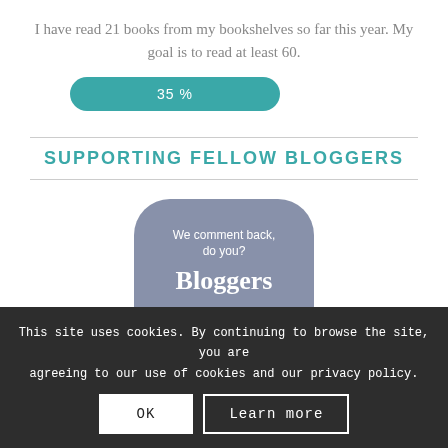I have read 21 books from my bookshelves so far this year. My goal is to read at least 60.
[Figure (infographic): A teal rounded progress bar showing 35%]
SUPPORTING FELLOW BLOGGERS
[Figure (illustration): A rounded badge graphic with text: We comment back, do you? Bloggers Commenting Back]
This site uses cookies. By continuing to browse the site, you are agreeing to our use of cookies and our privacy policy.